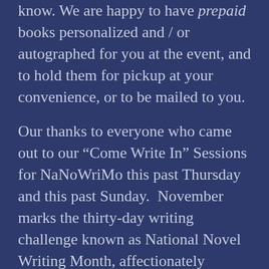know. We are happy to have prepaid books personalized and / or autographed for you at the event, and to hold them for pickup at your convenience, or to be mailed to you.
Our thanks to everyone who came out to our “Come Write In” Sessions for NaNoWriMo this past Thursday and this past Sunday. November marks the thirty-day writing challenge known as National Novel Writing Month, affectionately abbreviated to “NaNoWriMo” by its participants. The aim is to